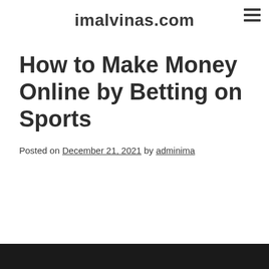imalvinas.com
How to Make Money Online by Betting on Sports
Posted on December 21, 2021 by adminima
[Figure (photo): Dark image strip at the bottom of the page, partially visible]